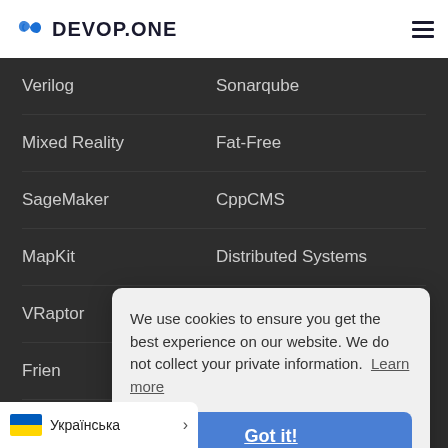DEVOP.ONE
Verilog | Sonarqube
Mixed Reality | Fat-Free
SageMaker | CppCMS
MapKit | Distributed Systems
VRaptor | Mercurial
Frien... | (partially hidden)
REST... | (partially hidden)
Sho... | (partially hidden)
We use cookies to ensure you get the best experience on our website. We do not collect your private information. Learn more
Got it!
Українська >